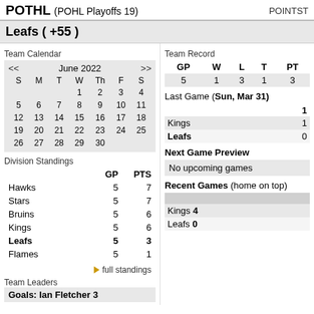POTHL (POHL Playoffs 19)  POINTST
Leafs ( +55 )
Team Calendar
| S | M | T | W | Th | F | S |
| --- | --- | --- | --- | --- | --- | --- |
|  |  |  | 1 | 2 | 3 | 4 |
| 5 | 6 | 7 | 8 | 9 | 10 | 11 |
| 12 | 13 | 14 | 15 | 16 | 17 | 18 |
| 19 | 20 | 21 | 22 | 23 | 24 | 25 |
| 26 | 27 | 28 | 29 | 30 |  |  |
Division Standings
|  | GP | PTS |
| --- | --- | --- |
| Hawks | 5 | 7 |
| Stars | 5 | 7 |
| Bruins | 5 | 6 |
| Kings | 5 | 6 |
| Leafs | 5 | 3 |
| Flames | 5 | 1 |
full standings
Team Leaders
Goals: Ian Fletcher 3
Team Record
| GP | W | L | T | PT |
| --- | --- | --- | --- | --- |
| 5 | 1 | 3 | 1 | 3 |
Last Game (Sun, Mar 31)
|  | 1 |
| --- | --- |
| Kings | 1 |
| Leafs | 0 |
Next Game Preview
No upcoming games
Recent Games (home on top)
| Kings 4 |  |
| Leafs 0 |  |